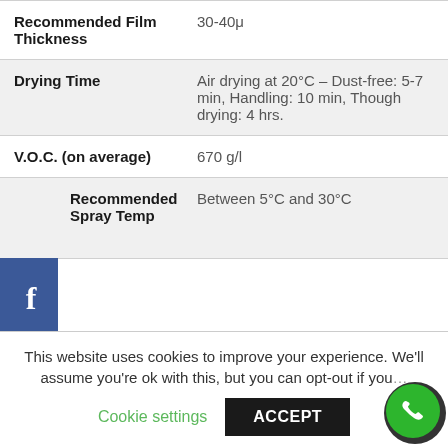| Property | Value |
| --- | --- |
| Recommended Film Thickness | 30-40μ |
| Drying Time | Air drying at 20°C – Dust-free: 5-7 min, Handling: 10 min, Though drying: 4 hrs. |
| V.O.C. (on average) | 670 g/l |
| Recommended Spray Temp | Between 5°C and 30°C |
Acrylic Technical Data (Matt)
| Property | Value |
| --- | --- |
| Theoretical Coverage | 1 m2 (2 Coats) |
This website uses cookies to improve your experience. We'll assume you're ok with this, but you can opt-out if you wish.
Cookie settings | ACCEPT